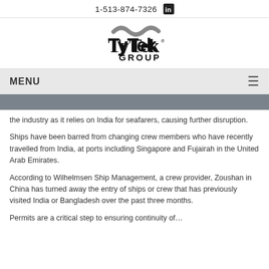1-513-874-7326
[Figure (logo): TyTek GROUP logo — stylized wave above bold serif/sans text reading TyTek GROUP]
MENU
the industry as it relies on India for seafarers, causing further disruption.
Ships have been barred from changing crew members who have recently travelled from India, at ports including Singapore and Fujairah in the United Arab Emirates.
According to Wilhelmsen Ship Management, a crew provider, Zoushan in China has turned away the entry of ships or crew that has previously visited India or Bangladesh over the past three months.
Permits are a critical step to ensuring continuity of…